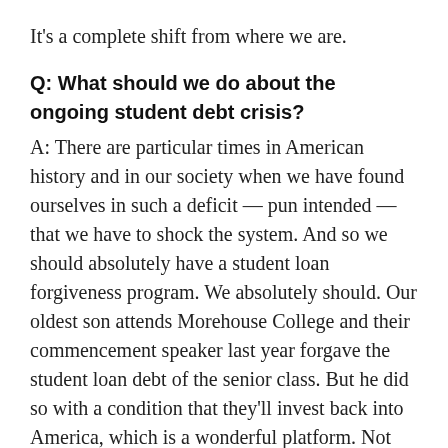It's a complete shift from where we are.
Q: What should we do about the ongoing student debt crisis?
A: There are particular times in American history and in our society when we have found ourselves in such a deficit — pun intended — that we have to shock the system. And so we should absolutely have a student loan forgiveness program. We absolutely should. Our oldest son attends Morehouse College and their commencement speaker last year forgave the student loan debt of the senior class. But he did so with a condition that they'll invest back into America, which is a wonderful platform. Not every commencement speaker can do that. But,